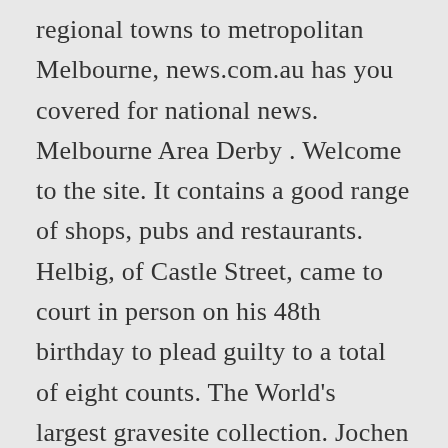regional towns to metropolitan Melbourne, news.com.au has you covered for national news. Melbourne Area Derby . Welcome to the site. It contains a good range of shops, pubs and restaurants. Helbig, of Castle Street, came to court in person on his 48th birthday to plead guilty to a total of eight counts. The World's largest gravesite collection. Jochen Helbig sold vegetables from a stall in Melbourne, (Image: Michael M. Santiago/Getty Images), When you subscribe we will use the information you provide to send you these newsletters. Victoria records one new coronavirus case in hotel quarantine. Melbourne is a town in south Derbyshire, England. Ronald William SHARP (Bill) Of